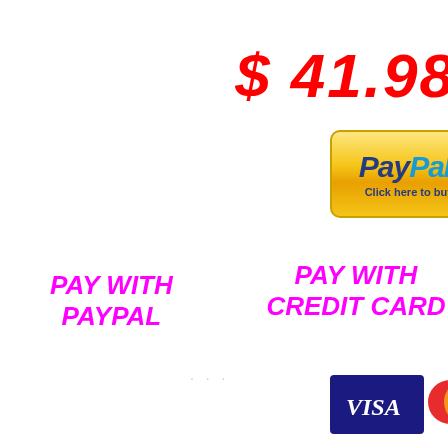$ 41.98
[Figure (logo): PayPal button with golden gradient background, PayPal logo in blue text, and 'Click here to buy' text]
PAY WITH PAYPAL
PAY WITH CREDIT CARD
[Figure (logo): Visa credit card logo - dark blue rectangle with VISA text in white italic]
[Figure (logo): Mastercard logo - two overlapping circles, red and orange]